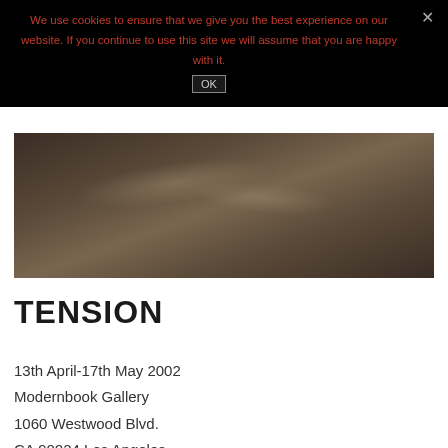We use cookies to ensure that we give you the best experience on our website. If you continue to use this site we will assume that you are happy with it.
OK
[Figure (photo): Dark textured surface photograph, close-up of a rough brownish material, possibly wood or stone, with subtle light reflections.]
TENSION
13th April-17th May 2002
Modernbook Gallery
1060 Westwood Blvd.
CA 90024 Los Angeles
USA